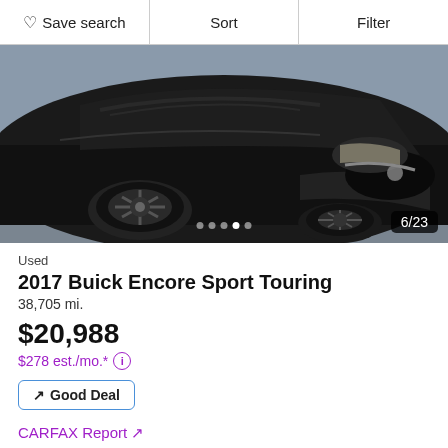Save search  Sort  Filter
[Figure (photo): A black 2017 Buick Encore Sport Touring SUV photographed from a front three-quarter angle, showing the front end, wheel, and hood. Image counter shows 6/23.]
Used
2017 Buick Encore Sport Touring
38,705 mi.
$20,988
$278 est./mo.*
Good Deal
CARFAX Report ↗